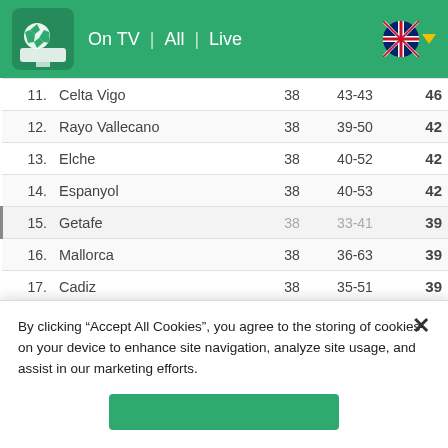On TV | All | Live
| # | Team | P | Goals | Pts |
| --- | --- | --- | --- | --- |
| 11. | Celta Vigo | 38 | 43-43 | 46 |
| 12. | Rayo Vallecano | 38 | 39-50 | 42 |
| 13. | Elche | 38 | 40-52 | 42 |
| 14. | Espanyol | 38 | 40-53 | 42 |
| 15. | Getafe | 38 | 33-41 | 39 |
| 16. | Mallorca | 38 | 36-63 | 39 |
| 17. | Cadiz | 38 | 35-51 | 39 |
| 18. | Granada | 38 | 44-61 | 38 |
| 19. | Levante | 38 | 51-76 | 35 |
| 20. | Alaves | 38 | 31-65 | 31 |
By clicking “Accept All Cookies”, you agree to the storing of cookies on your device to enhance site navigation, analyze site usage, and assist in our marketing efforts.